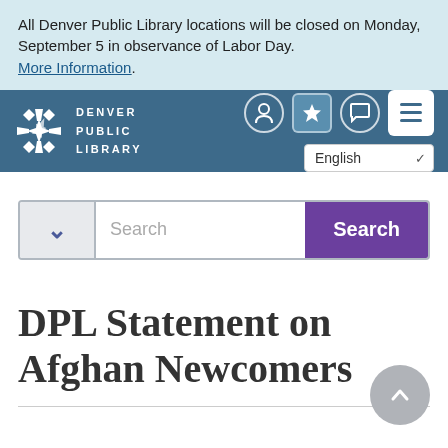All Denver Public Library locations will be closed on Monday, September 5 in observance of Labor Day. More Information.
[Figure (screenshot): Denver Public Library navigation bar with logo, user account icons, chat icon, language selector showing English, and hamburger menu button]
[Figure (screenshot): Search bar with dropdown arrow on left, search input field, and purple Search button on right]
DPL Statement on Afghan Newcomers